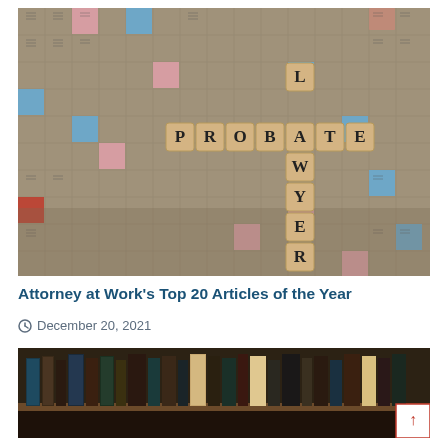[Figure (photo): Scrabble board with tiles spelling out PROBATE (horizontal) and LAWYER (vertical), wooden letter tiles on a classic Scrabble game board with colored squares.]
Attorney at Work's Top 20 Articles of the Year
December 20, 2021
[Figure (photo): Row of old law books on a library shelf, dark leather-bound volumes arranged closely together.]